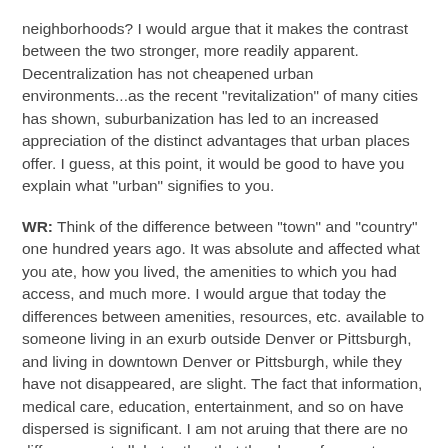neighborhoods? I would argue that it makes the contrast between the two stronger, more readily apparent. Decentralization has not cheapened urban environments...as the recent "revitalization" of many cities has shown, suburbanization has led to an increased appreciation of the distinct advantages that urban places offer. I guess, at this point, it would be good to have you explain what "urban" signifies to you.
WR: Think of the difference between "town" and "country" one hundred years ago. It was absolute and affected what you ate, how you lived, the amenities to which you had access, and much more. I would argue that today the differences between amenities, resources, etc. available to someone living in an exurb outside Denver or Pittsburgh, and living in downtown Denver or Pittsburgh, while they have not disappeared, are slight. The fact that information, medical care, education, entertainment, and so on have dispersed is significant. I am not aruing that there are no differences at all, but rather that they have, for most people, diminished to the point of being trivial. Nor is the balance weighted to the city, as it once was. Suburban